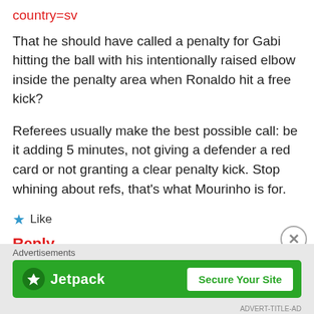country=sv
That he should have called a penalty for Gabi hitting the ball with his intentionally raised elbow inside the penalty area when Ronaldo hit a free kick?
Referees usually make the best possible call: be it adding 5 minutes, not giving a defender a red card or not granting a clear penalty kick. Stop whining about refs, that’s what Mourinho is for.
★ Like
Reply
Advertisements
[Figure (other): Jetpack advertisement banner with logo and 'Secure Your Site' button on green background]